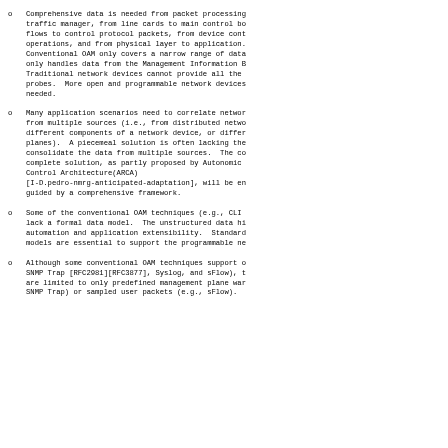Comprehensive data is needed from packet processing, traffic manager, from line cards to main control bo flows to control protocol packets, from device cont operations, and from physical layer to application. Conventional OAM only covers a narrow range of data only handles data from the Management Information B Traditional network devices cannot provide all the probes. More open and programmable network devices needed.
Many application scenarios need to correlate networ from multiple sources (i.e., from distributed netwo different components of a network device, or differ planes). A piecemeal solution is often lacking the consolidate the data from multiple sources. The co complete solution, as partly proposed by Autonomic Control Architecture(ARCA) [I-D.pedro-nmrg-anticipated-adaptation], will be en guided by a comprehensive framework.
Some of the conventional OAM techniques (e.g., CLI lack a formal data model. The unstructured data hi automation and application extensibility. Standard models are essential to support the programmable ne
Although some conventional OAM techniques support o SNMP Trap [RFC2981][RFC3877], Syslog, and sFlow), t are limited to only predefined management plane war SNMP Trap) or sampled user packets (e.g., sFlow).